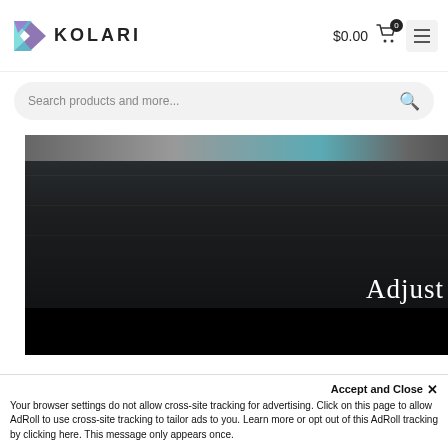KOLARI  $0.00  0
Search products and more...
[Figure (photo): Dark water scene with a boat/yacht moored at a dock, partially visible at top. Large white serif text 'Adjust' visible at lower right. Lower portion of image is solid black.]
Accept and Close ✕
Your browser settings do not allow cross-site tracking for advertising. Click on this page to allow AdRoll to use cross-site tracking to tailor ads to you. Learn more or opt out of this AdRoll tracking by clicking here. This message only appears once.